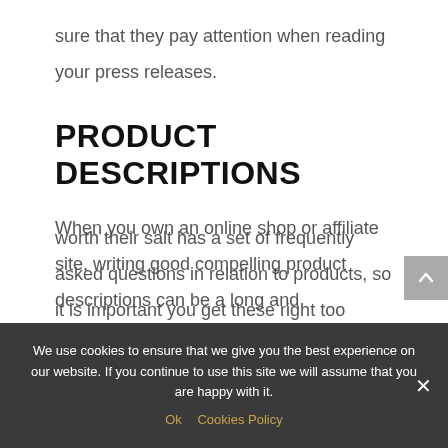sure that they pay attention when reading your press releases.
PRODUCT DESCRIPTIONS
When you own an online shop or affiliate site, writing good compelling product descriptions can be a long and painstaking challenge. A good copywriter can help you with writing the product descriptions that will make shoppers want to buy.
worth their salt has a set of frequently asked questions in relation to products, so it is important you get these right too
We use cookies to ensure that we give you the best experience on our website. If you continue to use this site we will assume that you are happy with it.
Ok   Cookies Policy